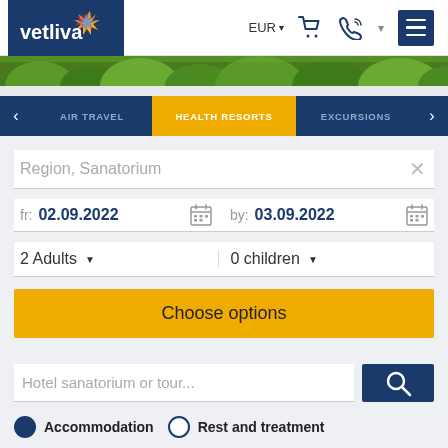[Figure (screenshot): Vetliva travel website header with logo, EUR currency selector, cart icon, phone icon, and hamburger menu]
[Figure (photo): Green forest/nature hero image strip]
AIR TRAVEL  |  HEALTH RESORTS  |  EXCURSIONS
Region, Sanatorium
fr: 02.09.2022   by: 03.09.2022
2 Adults   0 children
Choose options
Hotel sanatorium or tour...
Accommodation  Rest and treatment